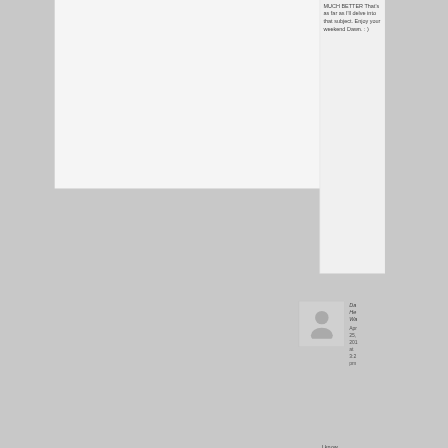MUCH BETTER That's as far as I'll delve into that subject. Enjoy your weekend Dawn. : )
[Figure (photo): Generic user avatar placeholder - grey silhouette of a person on light grey background]
Da He Wa Apr 25, 201 at 3:2 pm
I know